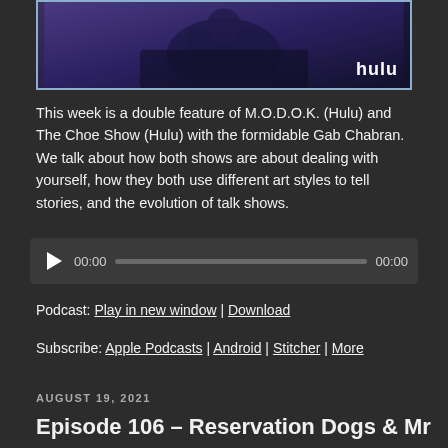[Figure (photo): Dark purple/blue toned TV show promotional image with hulu logo in bottom right corner]
This week is a double feature of M.O.D.O.K. (Hulu) and The Choe Show (Hulu) with the formidable Gab Chabran. We talk about how both shows are about dealing with yourself, how they both use different art styles to tell stories, and the evolution of talk shows.
[Figure (other): Audio player with play button, time display 00:00, progress bar, and end time 00:00]
Podcast: Play in new window | Download
Subscribe: Apple Podcasts | Android | Stitcher | More
AUGUST 19, 2021
Episode 106 – Reservation Dogs & Mr